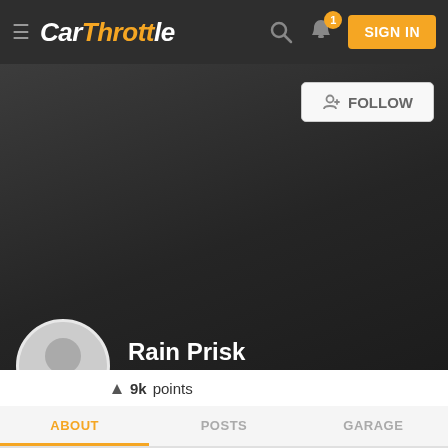CarThrottle – navigation bar with logo, search, notifications (1), and SIGN IN button
[Figure (screenshot): Dark cover background area with a Follow button in the top-right corner]
Rain Prisk
▲ 9k points
ABOUT   POSTS   GARAGE
LOCATION
Estonia